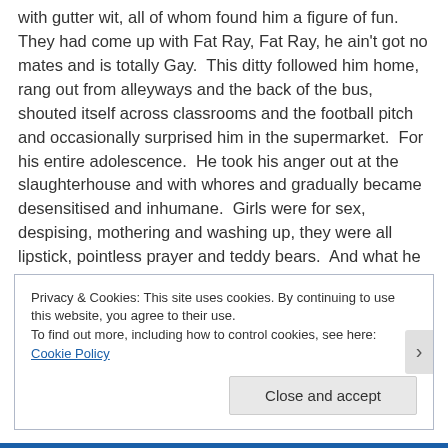with gutter wit, all of whom found him a figure of fun. They had come up with Fat Ray, Fat Ray, he ain't got no mates and is totally Gay. This ditty followed him home, rang out from alleyways and the back of the bus, shouted itself across classrooms and the football pitch and occasionally surprised him in the supermarket. For his entire adolescence. He took his anger out at the slaughterhouse and with whores and gradually became desensitised and inhumane. Girls were for sex, despising, mothering and washing up, they were all lipstick, pointless prayer and teddy bears. And what he hated about them most was that they didn't want to fuck him, any of them.
Privacy & Cookies: This site uses cookies. By continuing to use this website, you agree to their use.
To find out more, including how to control cookies, see here: Cookie Policy
Close and accept